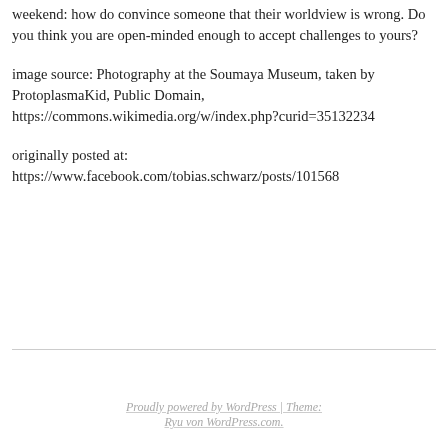weekend: how do convince someone that their worldview is wrong. Do you think you are open-minded enough to accept challenges to yours?
image source: Photography at the Soumaya Museum, taken by ProtoplasmaKid, Public Domain, https://commons.wikimedia.org/w/index.php?curid=35132234
originally posted at: https://www.facebook.com/tobias.schwarz/posts/101568
Proudly powered by WordPress | Theme: Ryu von WordPress.com.